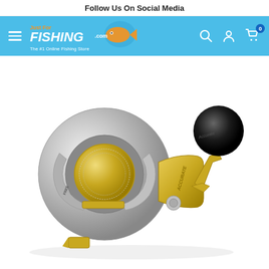Follow Us On Social Media
[Figure (screenshot): Navigation bar with hamburger menu, JustForFishing.com logo, and icons for search, account, and shopping cart with 0 items]
[Figure (photo): Silver and gold fishing reel with black handle knob, showing detailed mechanical components including spool, drag system, and crank arm]